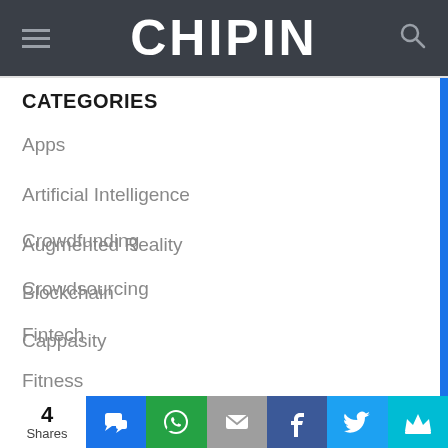CHIPIN
CATEGORIES
Apps
Artificial Intelligence
Augmented Reality
Blockchain
Cappasity
Crowdfunding
Crowdsourcing
Fintech
Fitness
4 Shares